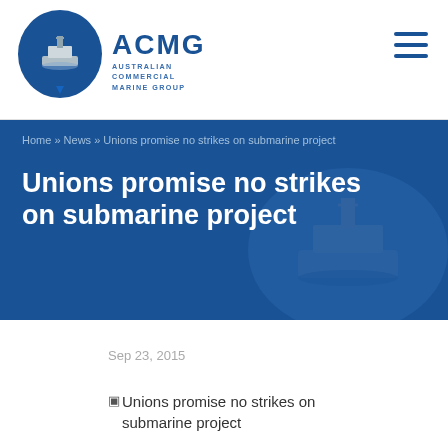ACMG Australian Commercial Marine Group
Home » News » Unions promise no strikes on submarine project
Unions promise no strikes on submarine project
Sep 23, 2015
[Figure (photo): Broken image placeholder for 'Unions promise no strikes on submarine project']